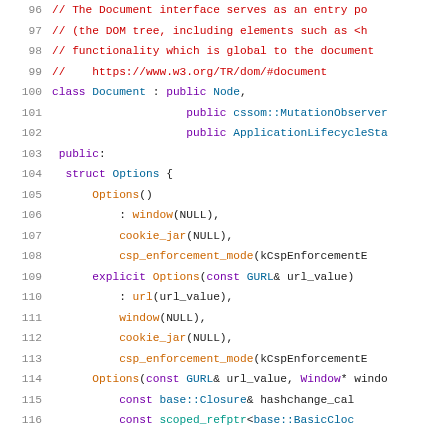[Figure (screenshot): Source code snippet (C++) showing class Document definition with lines 96-116, including comments, class inheritance, and nested Options struct with constructors.]